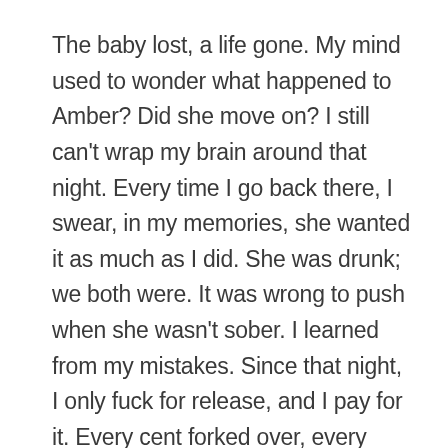The baby lost, a life gone. My mind used to wonder what happened to Amber? Did she move on? I still can't wrap my brain around that night. Every time I go back there, I swear, in my memories, she wanted it as much as I did. She was drunk; we both were. It was wrong to push when she wasn't sober. I learned from my mistakes. Since that night, I only fuck for release, and I pay for it. Every cent forked over, every fuck is a business transaction. There is no way I will allow myself to